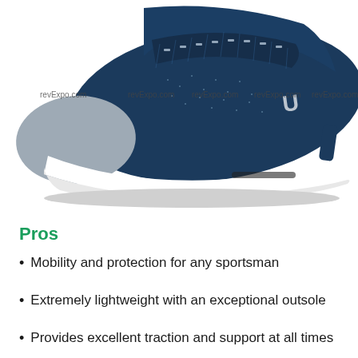[Figure (photo): A navy blue Under Armour running sneaker with white sole, shown from a side-front angle. Multiple watermark texts reading 'revExpo.com' are overlaid across the image.]
Pros
Mobility and protection for any sportsman
Extremely lightweight with an exceptional outsole
Provides excellent traction and support at all times